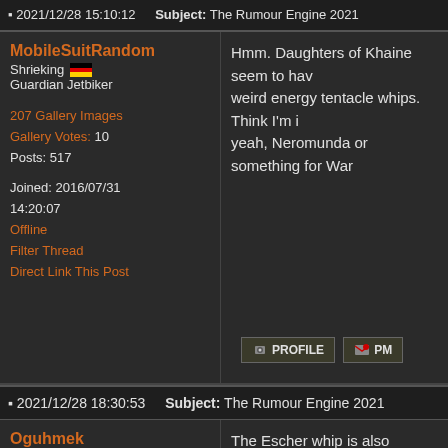2021/12/28 15:10:12  Subject: The Rumour Engine 2021
MobileSuitRandom
Shrieking Guardian Jetbiker
Hmm. Daughters of Khaine seem to have weird energy tentacle whips. Think I'm i... yeah, Neromunda or something for War...
207 Gallery Images
Gallery Votes: 10
Posts: 517
Joined: 2016/07/31 14:20:07
Offline
Filter Thread
Direct Link This Post
2021/12/28 18:30:53  Subject: The Rumour Engine 2021
Oguhmek
Bonkers Buggy Driver with Rockets
The Escher whip is also braided.
18 Gallery Images